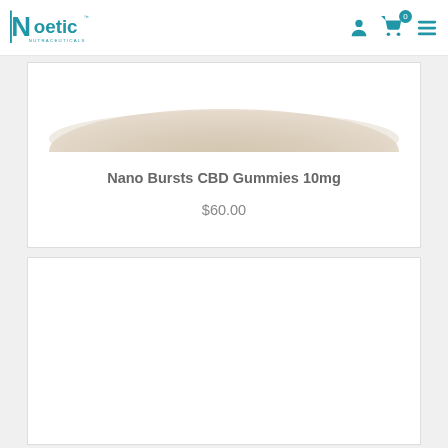Noetic Nutraceuticals
[Figure (photo): Product image showing top of a plate or bowl with a beige/tan colored surface, partially visible at the top of a product card]
Nano Bursts CBD Gummies 10mg
$60.00
[Figure (photo): Second product card, empty/white interior, no product image visible]